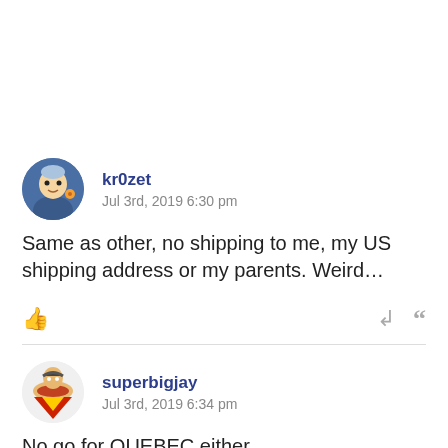kr0zet
Jul 3rd, 2019 6:30 pm
Same as other, no shipping to me, my US shipping address or my parents. Weird…
superbigjay
Jul 3rd, 2019 6:34 pm
No go for QUEBEC either.